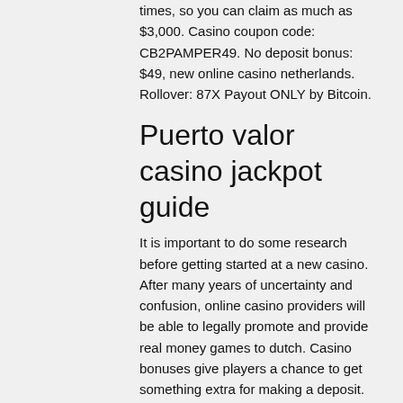times, so you can claim as much as $3,000. Casino coupon code: CB2PAMPER49. No deposit bonus: $49, new online casino netherlands. Rollover: 87X Payout ONLY by Bitcoin.
Puerto valor casino jackpot guide
It is important to do some research before getting started at a new casino. After many years of uncertainty and confusion, online casino providers will be able to legally promote and provide real money games to dutch. Casino bonuses give players a chance to get something extra for making a deposit. Every online casino on our list has a welcome bonus that rewards you as a new. The term mobile casino and the world of mobile casino games may be pretty new to some of the more seasoned online gamblers. Every online casino gives